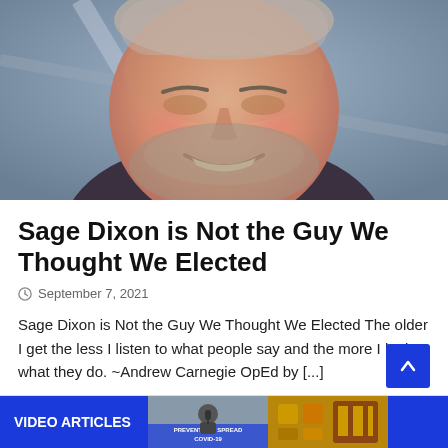[Figure (photo): Close-up photo of a smiling middle-aged man with short gray/brown hair and a beard, wearing a dark shirt, with what appears to be a flag or banner in the background.]
Sage Dixon is Not the Guy We Thought We Elected
September 7, 2021
Sage Dixon is Not the Guy We Thought We Elected The older I get the less I listen to what people say and the more I look at what they do. ~Andrew Carnegie OpEd by [...]
[Figure (screenshot): Bottom bar showing VIDEO ARTICLES label in white on blue background, with a thumbnail of a person at a microphone in front of a sign reading PREVENT THE SPREAD COVID-19, and another decorative thumbnail.]